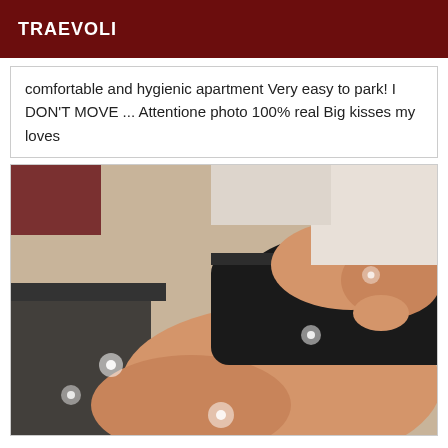TRAEVOLI
comfortable and hygienic apartment Very easy to park! I DON'T MOVE ... Attentione photo 100% real Big kisses my loves
[Figure (photo): Photo of a person lying down wearing black lingerie and stockings]